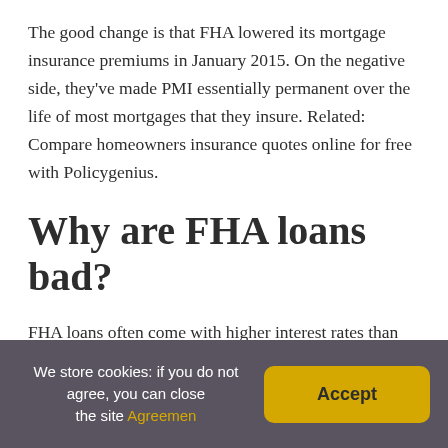The good change is that FHA lowered its mortgage insurance premiums in January 2015. On the negative side, they've made PMI essentially permanent over the life of most mortgages that they insure. Related: Compare homeowners insurance quotes online for free with Policygenius.
Why are FHA loans bad?
FHA loans often come with higher interest rates than other loans, simply because they're riskier. Since their credit score requirements are lower, there's a bigger chance the borrower will default on the loan. To protect themselves from this
We store cookies: if you do not agree, you can close the site Agreemen  Accept